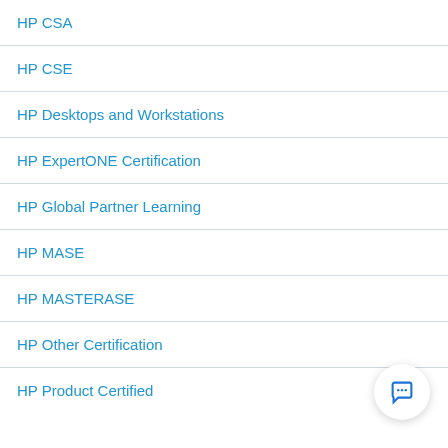HP CSA
HP CSE
HP Desktops and Workstations
HP ExpertONE Certification
HP Global Partner Learning
HP MASE
HP MASTERASE
HP Other Certification
HP Product Certified